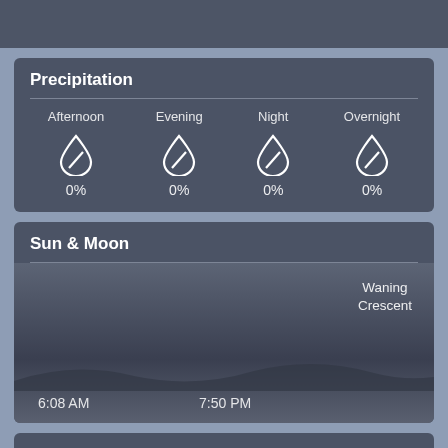Precipitation
| Afternoon | Evening | Night | Overnight |
| --- | --- | --- | --- |
| 0% | 0% | 0% | 0% |
Sun & Moon
Waning Crescent
6:08 AM
7:50 PM
Wind & Pressure